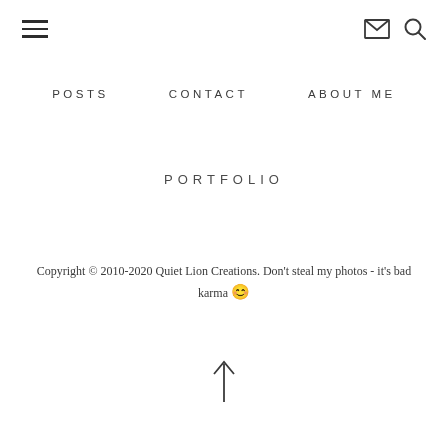≡  ✉ 🔍
POSTS   CONTACT   ABOUT ME
PORTFOLIO
Copyright © 2010-2020 Quiet Lion Creations. Don't steal my photos - it's bad karma 😊